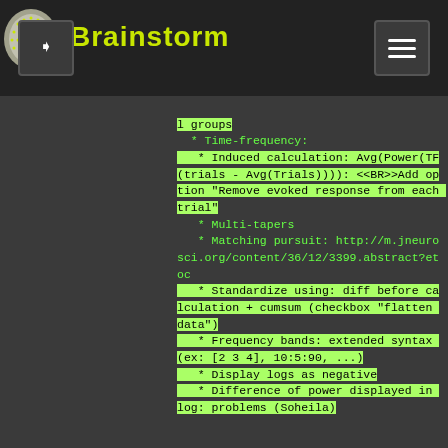Brainstorm
l groups
 * Time-frequency:
   * Induced calculation: Avg(Power(TF(trials - Avg(Trials)))):
<<BR>>Add option "Remove evoked response from each trial"
   * Multi-tapers
   * Matching pursuit: http://m.jneurosci.org/content/36/12/3399.abstract?etoc
   * Standardize using: diff before calculation + cumsum (checkbox "flatten data")
   * Frequency bands: extended syntax (ex: [2 3 4], 10:5:90, ...)
   * Display logs as negative
   * Difference of power displayed in log: problems (Soheila)